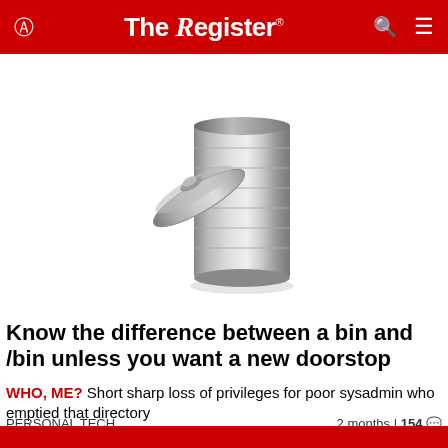The Register
[Figure (photo): A silver metallic trash bin with the lid leaning against its side, on a white background.]
Know the difference between a bin and /bin unless you want a new doorstop
WHO, ME? Short sharp loss of privileges for poor sysadmin who emptied that directory
PERSONAL TECH  2 months | 154 comments